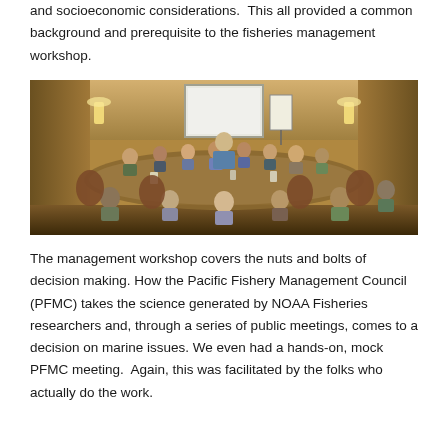and socioeconomic considerations.  This all provided a common background and prerequisite to the fisheries management workshop.
[Figure (photo): Group of people seated around conference tables in a hotel meeting room, with a presentation screen at the front. A facilitator stands speaking to the group.]
The management workshop covers the nuts and bolts of decision making. How the Pacific Fishery Management Council (PFMC) takes the science generated by NOAA Fisheries researchers and, through a series of public meetings, comes to a decision on marine issues. We even had a hands-on, mock PFMC meeting.  Again, this was facilitated by the folks who actually do the work.